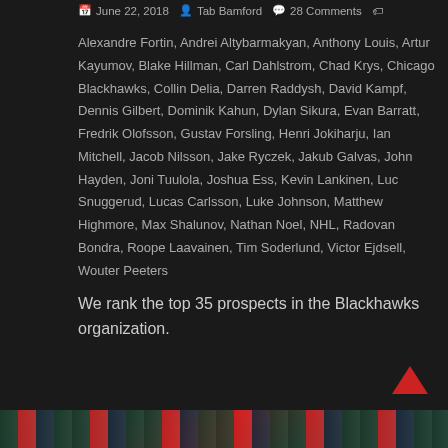June 22, 2018  Tab Bamford  28 Comments
Alexandre Fortin, Andrei Altybarmakyan, Anthony Louis, Artur Kayumov, Blake Hillman, Carl Dahlstrom, Chad Krys, Chicago Blackhawks, Collin Delia, Darren Raddysh, David Kampf, Dennis Gilbert, Dominik Kahun, Dylan Sikura, Evan Barratt, Fredrik Olofsson, Gustav Forsling, Henri Jokiharju, Ian Mitchell, Jacob Nilsson, Jake Ryczek, Jakub Galvas, John Hayden, Joni Tuulola, Joshua Ess, Kevin Lankinen, Luc Snuggerud, Lucas Carlsson, Luke Johnson, Matthew Highmore, Max Shalunov, Nathan Noel, NHL, Radovan Bondra, Roope Laavainen, Tim Soderlund, Victor Ejdsell, Wouter Peeters
We rank the top 35 prospects in the Blackhawks organization.
Read more
[Figure (photo): Partial bottom image strip showing a hockey-related banner with team colors (red, teal, dark)]